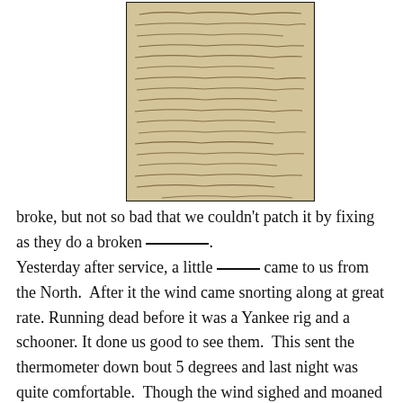[Figure (photo): A photograph of a handwritten historical letter or diary page, aged and yellowed, with cursive script in black ink covering the entire page.]
broke, but not so bad that we couldn't patch it by fixing as they do a broken ________. Yesterday after service, a little _____ came to us from the North. After it the wind came snorting along at great rate. Running dead before it was a Yankee rig and a schooner. It done us good to see them. This sent the thermometer down bout 5 degrees and last night was quite comfortable. Though the wind sighed and moaned